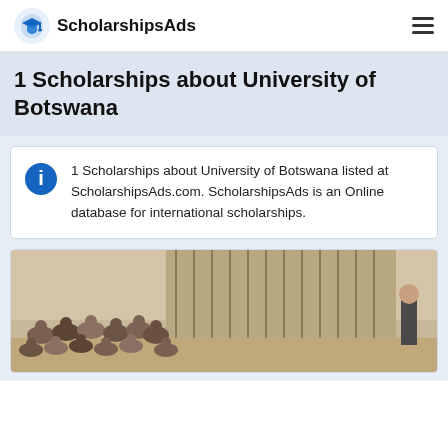ScholarshipsAds
1 Scholarships about University of Botswana
1 Scholarships about University of Botswana listed at ScholarshipsAds.com. ScholarshipsAds is an Online database for international scholarships.
[Figure (photo): A classroom or lecture hall scene with many students seated and a person standing at the front, with vertical blinds visible in the background.]